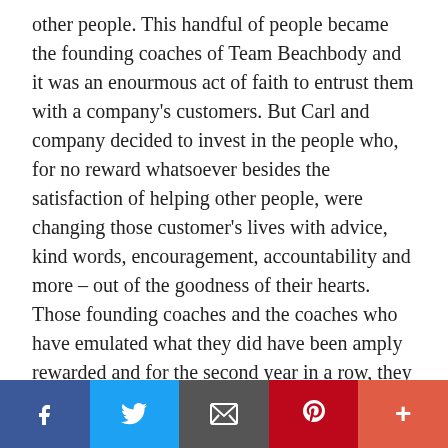other people. This handful of people became the founding coaches of Team Beachbody and it was an enourmous act of faith to entrust them with a company's customers. But Carl and company decided to invest in the people who, for no reward whatsoever besides the satisfaction of helping other people, were changing those customer's lives with advice, kind words, encouragement, accountability and more – out of the goodness of their hearts. Those founding coaches and the coaches who have emulated what they did have been amply rewarded and for the second year in a row, they will gather for a Coach Summit and Million Dollar Body Game awards gala this coming weekend.
Because of my success and my faith in you, I am investing
[Figure (infographic): Social sharing bar with five buttons: Facebook (blue), Twitter (light blue), Email (dark gray), Pinterest (red), and More/Plus (coral red)]